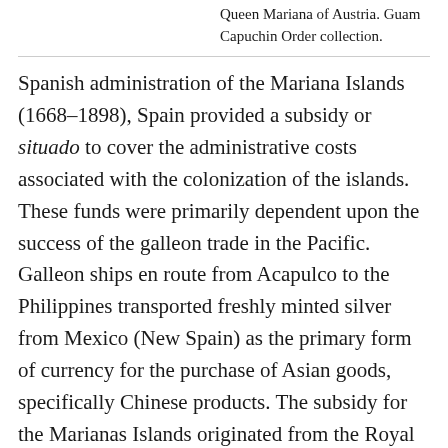Queen Mariana of Austria. Guam Capuchin Order collection.
Spanish administration of the Mariana Islands (1668–1898), Spain provided a subsidy or situado to cover the administrative costs associated with the colonization of the islands. These funds were primarily dependent upon the success of the galleon trade in the Pacific. Galleon ships en route from Acapulco to the Philippines transported freshly minted silver from Mexico (New Spain) as the primary form of currency for the purchase of Asian goods, specifically Chinese products. The subsidy for the Marianas Islands originated from the Royal Treasury of Mexico and was administered by government authorities in the Philippines.